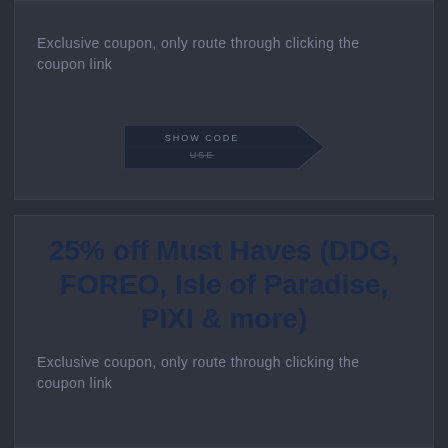Exclusive coupon, only route through clicking the coupon link
[Figure (other): SHOW CODE button with arrow/chevron shape]
25% off Must Haves (DDG, FOREO, Isle of Paradise, PIXI & more)
Exclusive coupon, only route through clicking the coupon link